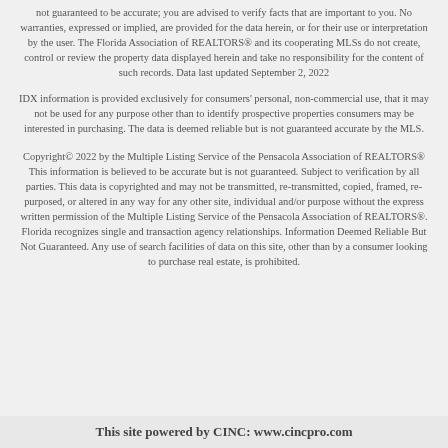not guaranteed to be accurate; you are advised to verify facts that are important to you. No warranties, expressed or implied, are provided for the data herein, or for their use or interpretation by the user. The Florida Association of REALTORS® and its cooperating MLSs do not create, control or review the property data displayed herein and take no responsibility for the content of such records. Data last updated September 2, 2022
IDX information is provided exclusively for consumers' personal, non-commercial use, that it may not be used for any purpose other than to identify prospective properties consumers may be interested in purchasing. The data is deemed reliable but is not guaranteed accurate by the MLS.
Copyright© 2022 by the Multiple Listing Service of the Pensacola Association of REALTORS® This information is believed to be accurate but is not guaranteed. Subject to verification by all parties. This data is copyrighted and may not be transmitted, re-transmitted, copied, framed, re-purposed, or altered in any way for any other site, individual and/or purpose without the express written permission of the Multiple Listing Service of the Pensacola Association of REALTORS®. Florida recognizes single and transaction agency relationships. Information Deemed Reliable But Not Guaranteed. Any use of search facilities of data on this site, other than by a consumer looking to purchase real estate, is prohibited.
This site powered by CINC: www.cincpro.com